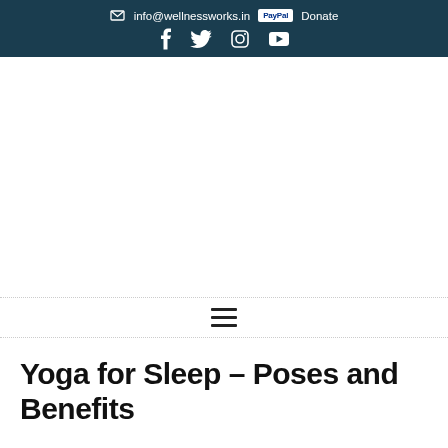✉ info@wellnessworks.in  [PayPal] Donate  f  🐦  📷  ▶
Yoga for Sleep – Poses and Benefits